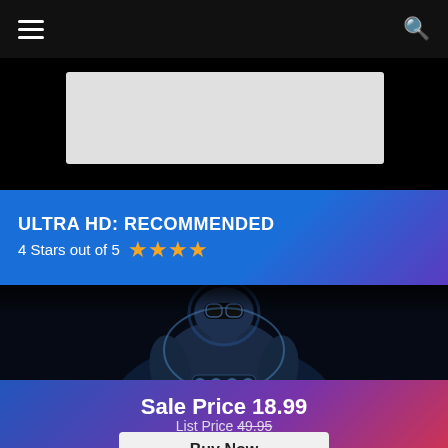Navigation bar with menu icon and search icon
[Figure (other): Gray advertisement/banner placeholder rectangle]
ULTRA HD: RECOMMENDED
4 Stars out of 5 ★★★★
[Figure (photo): Movie poster image: muscular figure (Riddick) in dark blue tones wearing dark goggles and chains, dramatic dark background]
Sale Price 18.99
List Price 49.95
Buy Now